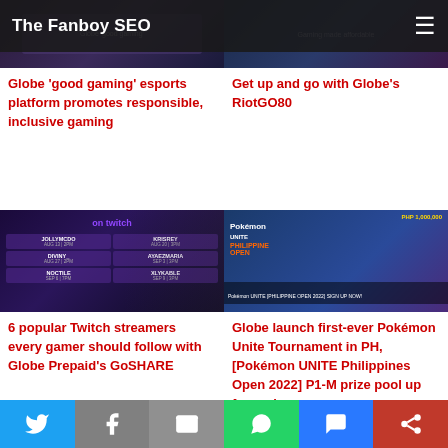The Fanboy SEO
[Figure (photo): Gaming image - Globe good gaming esports platform]
Globe 'good gaming' esports platform promotes responsible, inclusive gaming
[Figure (photo): Gaming made affordable - Globe RiotGO80]
Get up and go with Globe's RiotGO80
[Figure (photo): On Twitch - 6 popular streamers schedule graphic with man wearing headphones]
6 popular Twitch streamers every gamer should follow with Globe Prepaid's GoSHARE
[Figure (photo): Pokemon UNITE Philippine Open 2022 banner - PHP 1,000,000 prize pool]
Globe launch first-ever Pokémon Unite Tournament in PH, [Pokémon UNITE Philippines Open 2022] P1-M prize pool up for grabs
Social share bar: Twitter, Facebook, Email, WhatsApp, SMS, More